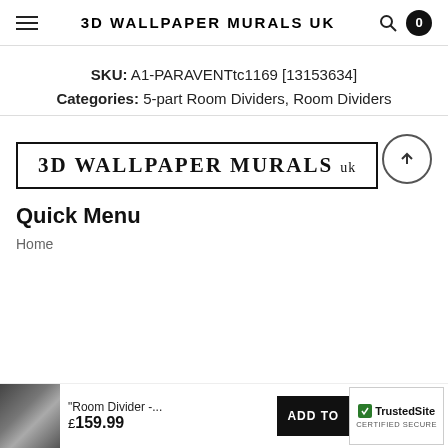3D WALLPAPER MURALS UK
SKU: A1-PARAVENTtc1169 [13153634]
Categories: 5-part Room Dividers, Room Dividers
[Figure (logo): 3D WALLPAPER MURALS uk logo in a rectangular border]
Quick Menu
Home
"Room Divider -... £159.99  ADD TO [TrustedSite CERTIFIED SECURE]